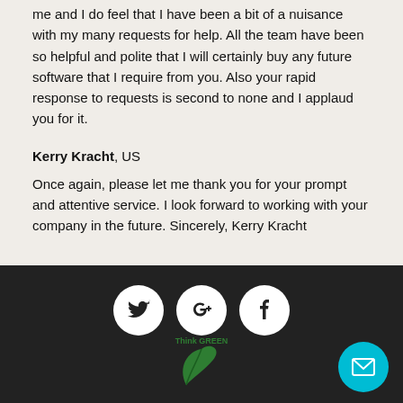me and I do feel that I have been a bit of a nuisance with my many requests for help. All the team have been so helpful and polite that I will certainly buy any future software that I require from you. Also your rapid response to requests is second to none and I applaud you for it.
Kerry Kracht, US
Once again, please let me thank you for your prompt and attentive service. I look forward to working with your company in the future. Sincerely, Kerry Kracht
[Figure (illustration): Footer with social media icons (Twitter, Google+, Facebook) as white circles on dark background, a Think Green leaf logo at the bottom center, and a cyan mail button at bottom right.]